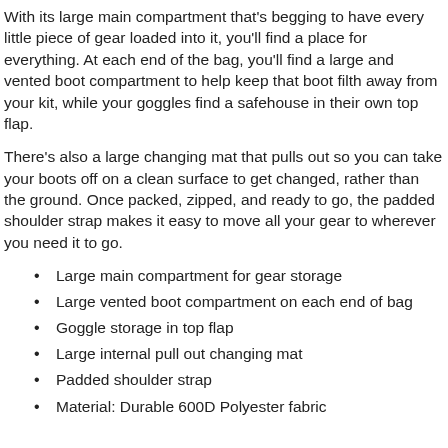With its large main compartment that's begging to have every little piece of gear loaded into it, you'll find a place for everything. At each end of the bag, you'll find a large and vented boot compartment to help keep that boot filth away from your kit, while your goggles find a safehouse in their own top flap.
There's also a large changing mat that pulls out so you can take your boots off on a clean surface to get changed, rather than the ground. Once packed, zipped, and ready to go, the padded shoulder strap makes it easy to move all your gear to wherever you need it to go.
Large main compartment for gear storage
Large vented boot compartment on each end of bag
Goggle storage in top flap
Large internal pull out changing mat
Padded shoulder strap
Material: Durable 600D Polyester fabric